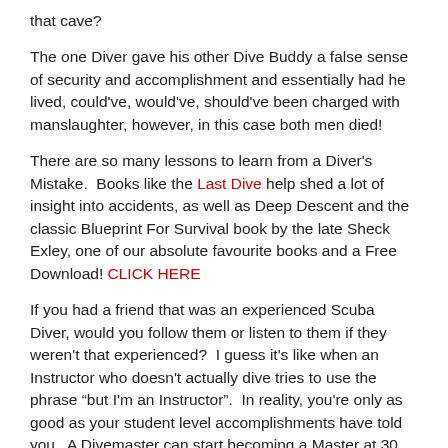that cave?
The one Diver gave his other Dive Buddy a false sense of security and accomplishment and essentially had he lived, could've, would've, should've been charged with manslaughter, however, in this case both men died!
There are so many lessons to learn from a Diver's Mistake.  Books like the Last Dive help shed a lot of insight into accidents, as well as Deep Descent and the classic Blueprint For Survival book by the late Sheck Exley, one of our absolute favourite books and a Free Download! CLICK HERE
If you had a friend that was an experienced Scuba Diver, would you follow them or listen to them if they weren't that experienced?  I guess it's like when an Instructor who doesn't actually dive tries to use the phrase "but I'm an Instructor".  In reality, you're only as good as your student level accomplishments have told you.  A Divemaster can start becoming a Master at 30 Dives, an Instructor can become an Instructor with only 102 logged dives for